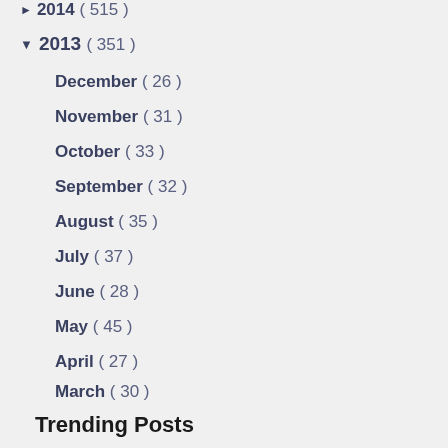▶ 2014 ( 515 )
▼ 2013 ( 351 )
December ( 26 )
November ( 31 )
October ( 33 )
September ( 32 )
August ( 35 )
July ( 37 )
June ( 28 )
May ( 45 )
April ( 27 )
March ( 30 )
February ( 22 )
January ( 5 )
Trending Posts